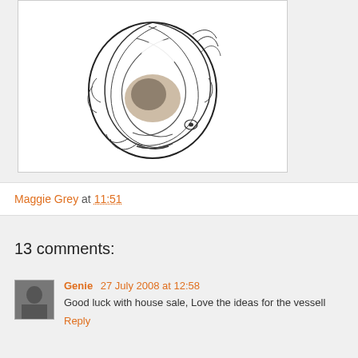[Figure (illustration): Abstract swirling circular artwork in black and white with hints of brown/tan color, resembling a bird or planet seen through a fisheye lens with dramatic flowing brushstroke-like patterns]
Maggie Grey at 11:51
13 comments:
Genie 27 July 2008 at 12:58
Good luck with house sale, Love the ideas for the vessell
Reply